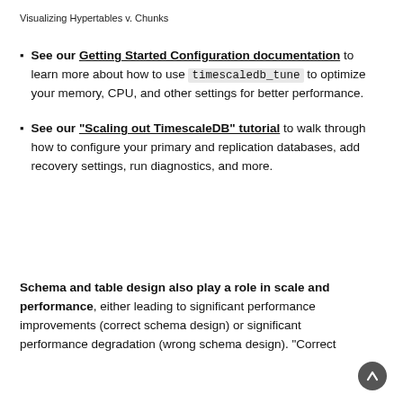Visualizing Hypertables v. Chunks
See our Getting Started Configuration documentation to learn more about how to use timescaledb_tune to optimize your memory, CPU, and other settings for better performance.
See our "Scaling out TimescaleDB" tutorial to walk through how to configure your primary and replication databases, add recovery settings, run diagnostics, and more.
Schema and table design also play a role in scale and performance, either leading to significant performance improvements (correct schema design) or significant performance degradation (wrong schema design). "Correct